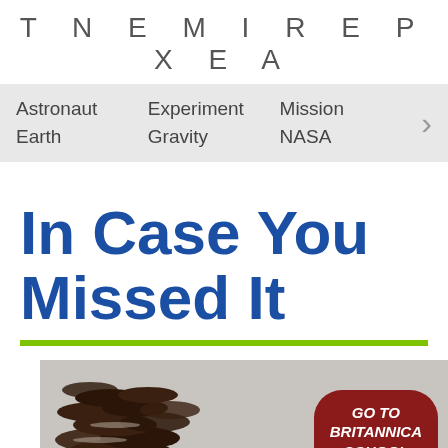T N E M I R E P X E A
|  |  |  |
| --- | --- | --- |
| Astronaut | Experiment | Mission |
| Earth | Gravity | NASA |
In Case You Missed It
[Figure (photo): Photo of chocolate sandwich cookies (Oreos) piled together on a light background, with a dark red rounded button overlay reading GO TO BRITANNICA SCHOOL]